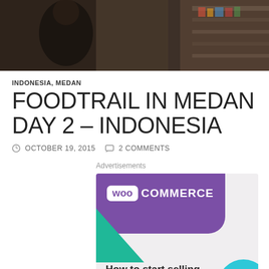[Figure (photo): Hero photo of a market or store interior, dark tones showing shelves in background]
INDONESIA, MEDAN
FOODTRAIL IN MEDAN DAY 2 – INDONESIA
OCTOBER 19, 2015   2 COMMENTS
Advertisements
[Figure (illustration): WooCommerce advertisement banner with purple background, teal triangle, cyan circle. Text: woo COMMERCE. How to start selling subscriptions online]